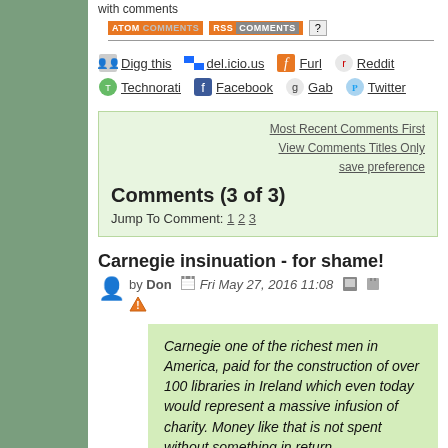with comments
ATOM COMMENTS | RSS COMMENTS | ?
Digg this  del.icio.us  Furl  Reddit  Technorati  Facebook  Gab  Twitter
Most Recent Comments First
View Comments Titles Only
save preference
Comments (3 of 3)
Jump To Comment: 1 2 3
Carnegie insinuation - for shame!
by Don  Fri May 27, 2016 11:08
Carnegie one of the richest men in America, paid for the construction of over 100 libraries in Ireland which even today would represent a massive infusion of charity. Money like that is not spent without something in return
Rather than make a sweeping insinuation about the